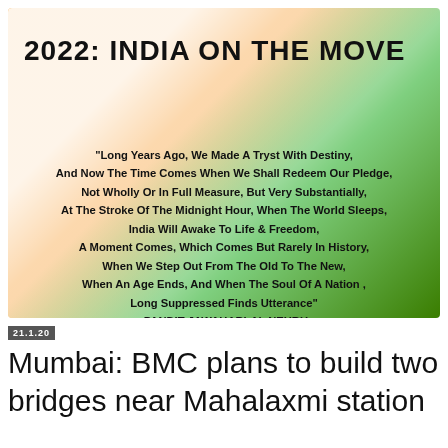[Figure (illustration): Indian flag tricolor diagonal swash background (saffron, white, green) with bold black title '2022: INDIA ON THE MOVE' and a quote by Pandit Jawaharlal Nehru about India's independence.]
21.1.20
Mumbai: BMC plans to build two bridges near Mahalaxmi station